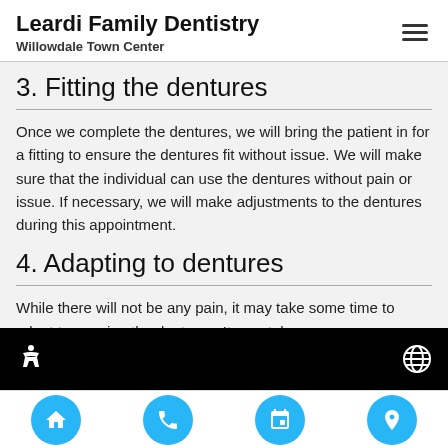Leardi Family Dentistry
Willowdale Town Center
3. Fitting the dentures
Once we complete the dentures, we will bring the patient in for a fitting to ensure the dentures fit without issue. We will make sure that the individual can use the dentures without pain or issue. If necessary, we will make adjustments to the dentures during this appointment.
4. Adapting to dentures
While there will not be any pain, it may take some time to adapt to wearing the dentures. It may take